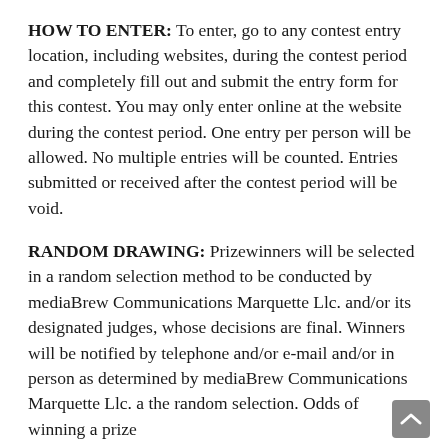HOW TO ENTER: To enter, go to any contest entry location, including websites, during the contest period and completely fill out and submit the entry form for this contest. You may only enter online at the website during the contest period. One entry per person will be allowed. No multiple entries will be counted. Entries submitted or received after the contest period will be void.
RANDOM DRAWING: Prizewinners will be selected in a random selection method to be conducted by mediaBrew Communications Marquette Llc. and/or its designated judges, whose decisions are final. Winners will be notified by telephone and/or e-mail and/or in person as determined by mediaBrew Communications Marquette Llc. a the random selection. Odds of winning a prize